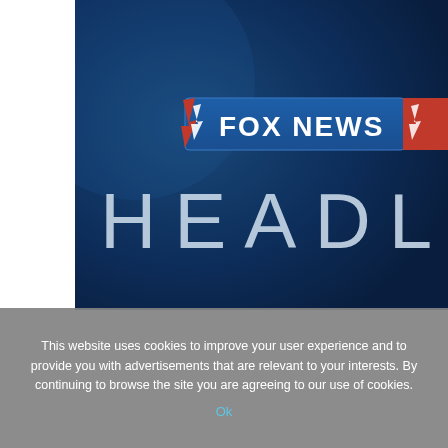[Figure (screenshot): Fox News Headlines broadcast graphic on a dark blue gradient background, showing the Fox News logo in a blue rectangle with a red lightning bolt, and large white spaced letters spelling 'HEADL' (partially visible, cut off on right)]
This website uses cookies to improve your user experience and to provide you with advertisements that are relevant to your interests. By continuing to browse the site you are agreeing to our use of cookies.
Ok